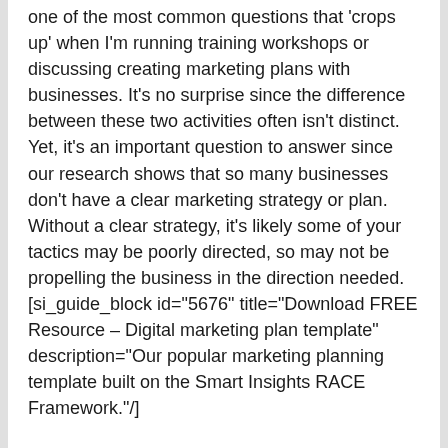one of the most common questions that 'crops up' when I'm running training workshops or discussing creating marketing plans with businesses. It's no surprise since the difference between these two activities often isn't distinct. Yet, it's an important question to answer since our research shows that so many businesses don't have a clear marketing strategy or plan. Without a clear strategy, it's likely some of your tactics may be poorly directed, so may not be propelling the business in the direction needed. [si_guide_block id="5676" title="Download FREE Resource – Digital marketing plan template" description="Our popular marketing planning template built on the Smart Insights RACE Framework."/]
9 key features that distinguish marketing strategy vs tactics
In this article, I will show the difference between strategy and tactics by looking at characteristics of marketing strategy, which